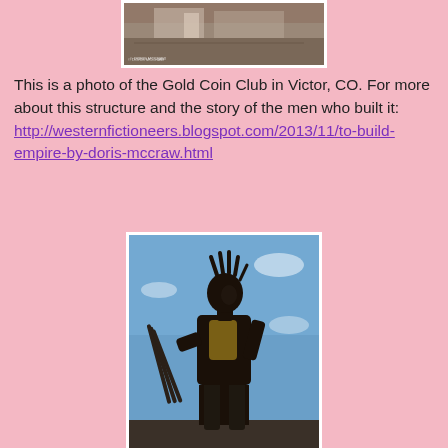[Figure (photo): Photo of the Gold Coin Club in Victor, CO — a building/ruins with a watermark reading © DORIS MCCRAW]
This is a photo of the Gold Coin Club in Victor, CO. For more about this structure and the story of the men who built it: http://westernfictioneers.blogspot.com/2013/11/to-build-empire-by-doris-mccraw.html
[Figure (photo): Photo of a bronze statue of a miner holding a drill or tool against a blue sky background]